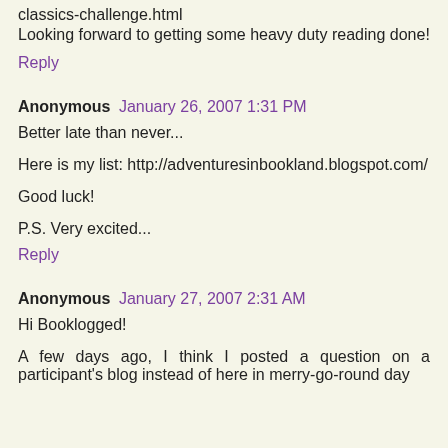classics-challenge.html
Looking forward to getting some heavy duty reading done!
Reply
Anonymous  January 26, 2007 1:31 PM
Better late than never...
Here is my list: http://adventuresinbookland.blogspot.com/
Good luck!
P.S. Very excited...
Reply
Anonymous  January 27, 2007 2:31 AM
Hi Booklogged!
A few days ago, I think I posted a question on a participant's blog instead of here in merry-go-round day